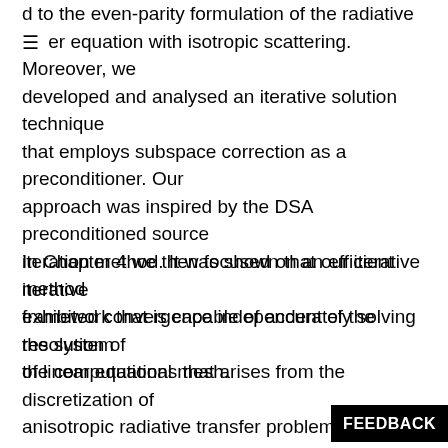d to the even-parity formulation of the radiative ≡ er equation with isotropic scattering. Moreover, we developed and analysed an iterative solution technique that employs subspace correction as a preconditioner. Our approach was inspired by the DSA preconditioned source iteration method. It was shown that our iterative method exhibited convergence independent of the resolution of the computational mesh.
In Chapter 4 we then focused on an efficient iterative framework that is capable of accurately solving the system of linear equations that arises from the discretization of anisotropic radiative transfer problems. In case of forward peaked scattering the convergence of the standard DSA-preconditioned source iteration method is slow, hence acceleration with the use of an appropriate preconditioning technique is necessary. In Chapter 4 we proposed a provably convergent iterative me